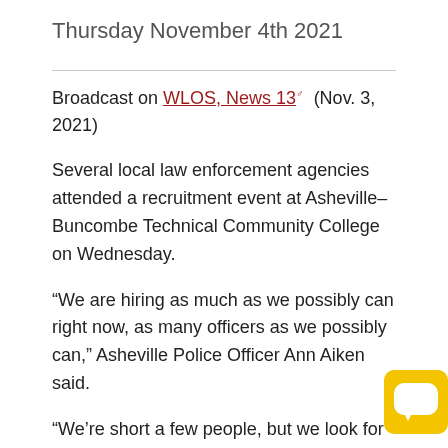Thursday November 4th 2021
Broadcast on WLOS, News 13 (Nov. 3, 2021)
Several local law enforcement agencies attended a recruitment event at Asheville–Buncombe Technical Community College on Wednesday.
“We are hiring as much as we possibly can right now, as many officers as we possibly can,” Asheville Police Officer Ann Aiken said.
“We’re short a few people, but we look for quality people,” Hendersonville Police Lt. Kenneth Hipps said.